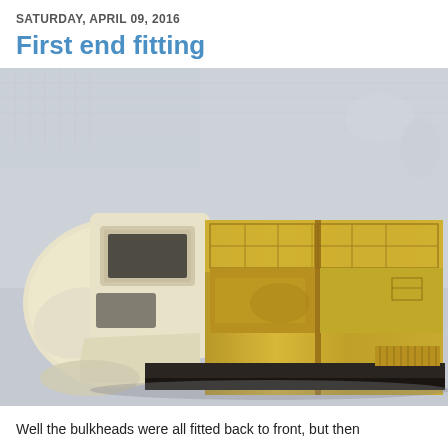SATURDAY, APRIL 09, 2016
First end fitting
[Figure (photo): A scale model of a train or vehicle cab/nose section in cream/beige resin, fitted together with brass etched body sides showing window frames and door openings. The model is photographed on a light grey surface, showing the nose end on the left and the brass-coloured sides extending to the right.]
Well the bulkheads were all fitted back to front, but then